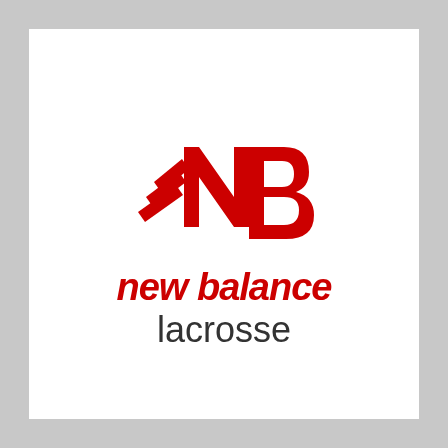[Figure (logo): New Balance Lacrosse logo: red NB speed mark icon above bold red italic 'new balance' text and gray 'lacrosse' text]